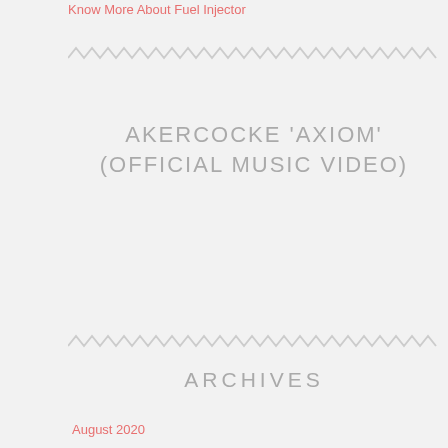Know More About Fuel Injector
AKERCOCKE 'AXIOM' (OFFICIAL MUSIC VIDEO)
ARCHIVES
August 2020